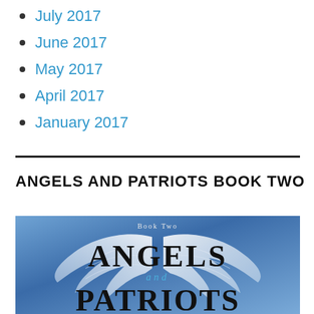July 2017
June 2017
May 2017
April 2017
January 2017
ANGELS AND PATRIOTS BOOK TWO
[Figure (illustration): Book cover for Angels and Patriots Book Two showing white angel wings on a blue background with the text 'Book Two', 'ANGELS', 'and', 'PATRIOTS' in large letters]